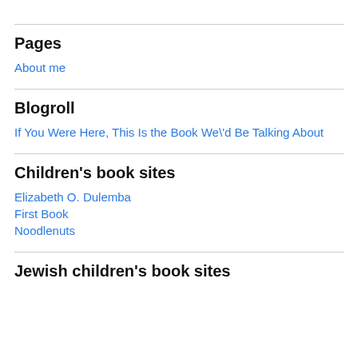Pages
About me
Blogroll
If You Were Here, This Is the Book We\'d Be Talking About
Children's book sites
Elizabeth O. Dulemba
First Book
Noodlenuts
Jewish children's book sites